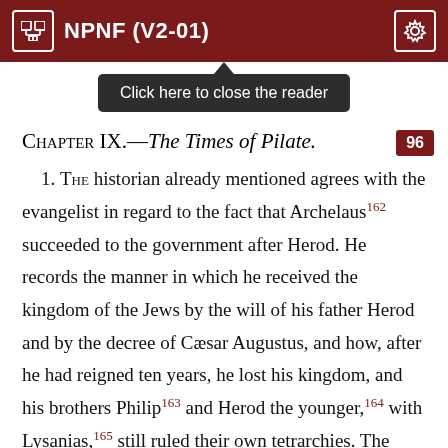NPNF (V2-01)
[Figure (screenshot): Tooltip popup: 'Click here to close the reader' on dark background with upward triangle arrow]
Chapter IX.—The Times of Pilate.
1. The historian already mentioned agrees with the evangelist in regard to the fact that Archelaus162 succeeded to the government after Herod. He records the manner in which he received the kingdom of the Jews by the will of his father Herod and by the decree of Cæsar Augustus, and how, after he had reigned ten years, he lost his kingdom, and his brothers Philip163 and Herod the younger,164 with Lysanias,165 still ruled their own tetrarchies. The same writer, in the eighteenth book of his